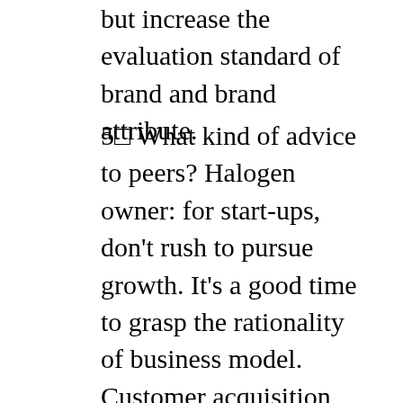but increase the evaluation standard of brand and brand attribute.
5□ What kind of advice to peers? Halogen owner: for start-ups, don't rush to pursue growth. It's a good time to grasp the rationality of business model. Customer acquisition, repurchase and gross profit. Whether the business model is of high quality is more important than scale. Bad business models are in the wrong direction. Efforts should be made to build the organization and culture. Our company attaches great importance to the introduction of talents. If you make more money and less money this year, you will pay it back. The results obtained here are to support...